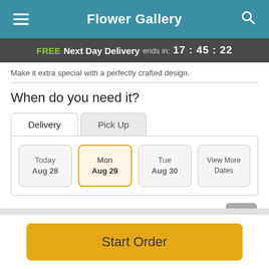Flower Gallery
FREE Next Day Delivery ends in: 17:45:22
Make it extra special with a perfectly crafted design.
When do you need it?
Delivery | Pick Up
Today Aug 28 | Mon Aug 29 | Tue Aug 30 | View More Dates
Free Delivery for local online orders!
Start Order